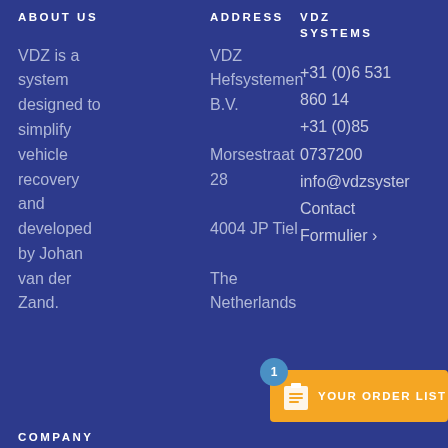ABOUT US
VDZ is a system designed to simplify vehicle recovery and developed by Johan van der Zand.
ADDRESS
VDZ Hefsystemen B.V.
Morsestraat 28
4004 JP Tiel
The Netherlands
VDZ SYSTEMS
+31 (0)6 531 860 14
+31 (0)85 0737200
info@vdzsyste…
Contact Formulier ›
[Figure (other): Yellow order list button with clipboard icon and badge showing 1. Text reads YOUR ORDER LIST.]
COMPANY